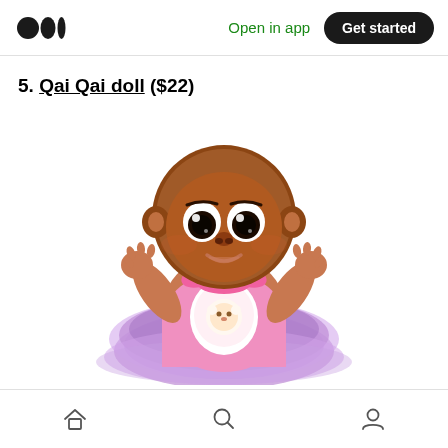Medium — Open in app | Get started
5. Qai Qai doll ($22)
[Figure (photo): A Qai Qai baby doll with dark brown skin, large expressive eyes, bald head, pink long-sleeve top with a lamb bib, and a purple tulle skirt, with hands raised.]
Home | Search | Profile navigation icons